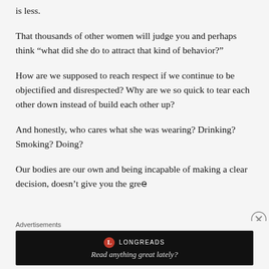is less.
That thousands of other women will judge you and perhaps think “what did she do to attract that kind of behavior?”
How are we supposed to reach respect if we continue to be objectified and disrespected? Why are we so quick to tear each other down instead of build each other up?
And honestly, who cares what she was wearing? Drinking? Smoking? Doing?
Our bodies are our own and being incapable of making a clear decision, doesn’t give you the green
Advertisements
[Figure (other): Longreads advertisement banner with logo and tagline 'Read anything great lately?' on dark background]